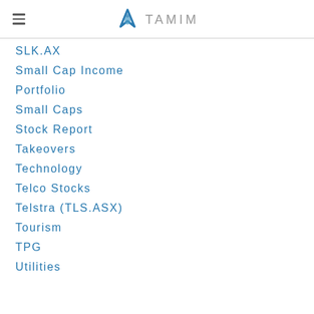TAMIM
SLK.AX
Small Cap Income
Portfolio
Small Caps
Stock Report
Takeovers
Technology
Telco Stocks
Telstra (TLS.ASX)
Tourism
TPG
Utilities